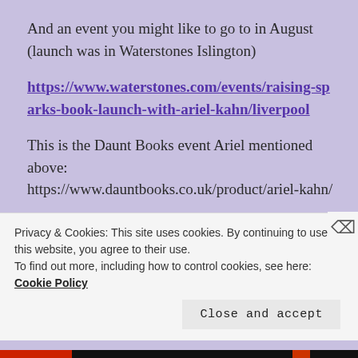And an event you might like to go to in August (launch was in Waterstones Islington)
https://www.waterstones.com/events/raising-sparks-book-launch-with-ariel-kahn/liverpool
This is the Daunt Books event Ariel mentioned above: https://www.dauntbooks.co.uk/product/ariel-kahn/
And you might like to read this, too. Ariel’s book is part of this survey.
https://www.irishtimes.com/culture/books/sneak-
Privacy & Cookies: This site uses cookies. By continuing to use this website, you agree to their use.
To find out more, including how to control cookies, see here: Cookie Policy
Close and accept